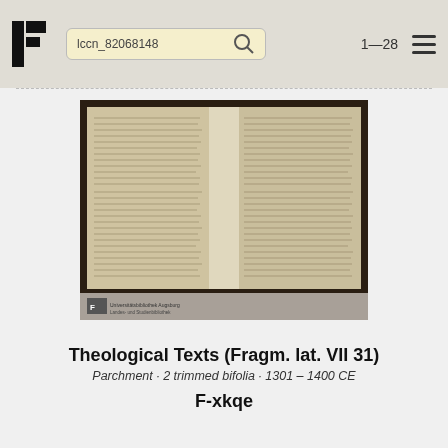lccn_82068148  1-28
[Figure (photo): Photograph of two trimmed bifolia parchment manuscript pages with dense medieval Latin script, mounted on dark background. Bottom bar shows institution logo and text.]
Theological Texts (Fragm. lat. VII 31)
Parchment · 2 trimmed bifolia · 1301 – 1400 CE
F-xkqe